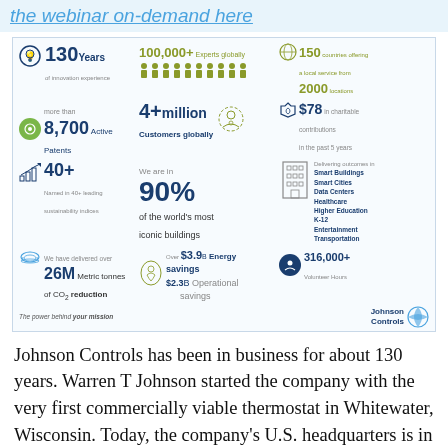the webinar on-demand here
[Figure (infographic): Johnson Controls company facts infographic: 130 Years of innovation experience, 100,000+ Experts globally, 150 countries offering a local service from 2000 locations, more than 8,700 Active Patents, 4+ million Customers globally, $78 in charitable contributions in the past 5 years, 40+ Named in 40+ leading sustainability indices, We are in 90% of the world's most iconic buildings, Delivering outcomes in Smart Buildings Smart Cities Data Centers Healthcare Higher Education K-12 Entertainment Transportation, We have delivered over 26M Metric tonnes of CO2 reduction, Over $3.9B Energy savings, $2.3B Operational savings, 316,000+ Volunteer Hours. Johnson Controls logo and tagline: The power behind your mission.]
Johnson Controls has been in business for about 130 years. Warren T Johnson started the company with the very first commercially viable thermostat in Whitewater, Wisconsin. Today, the company's U.S. headquarters is in